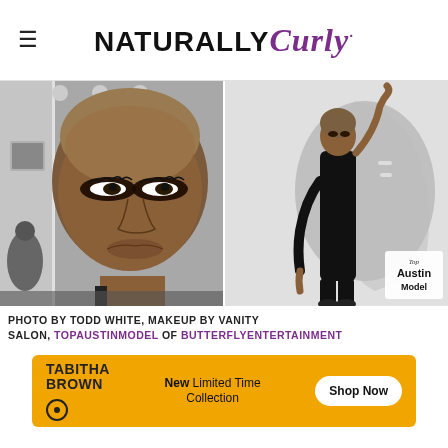NATURALLY Curly
[Figure (photo): Two black and white photos side by side: left is a close-up portrait of a Black woman with a shaved head and dramatic eye makeup in a salon setting; right is a full-body fashion shot of a tall slim Black woman in a black outfit posing against a white background with a dramatic shadow, with a Top Austin Model badge in the corner.]
PHOTO BY TODD WHITE, MAKEUP BY VANITY SALON, TOPAUSTINMODEL OF BUTTERFLYENTERTAINMENT
[Figure (infographic): Orange advertisement banner for Tabitha Brown x Target collection. Shows 'TABITHA BROWN' logo with Target circle logo, text 'New Limited Time Collection', and a 'Shop Now' button.]